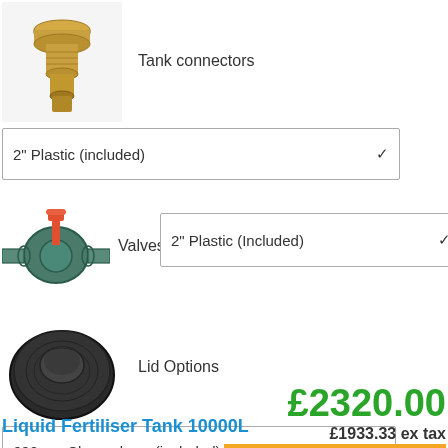[Figure (photo): Brass tank connector fitting product photo]
Tank connectors
[Figure (other): Dropdown selector: 2" Plastic (included)]
[Figure (photo): PVC ball valve with red handle product photo]
Valves
[Figure (other): Dropdown selector: 2" Plastic (Included)]
[Figure (photo): Black lid / manhole cover product photo]
Lid Options
[Figure (other): Dropdown selector: 600mm Clamp down (included)]
£2320.00
£1933.33 ex tax
Liquid Fertiliser Tank 10000L
ADD TO CART
The Ecosure 10000L liquid fertiliser tank grade MDPE for strength, with the ge for durability and a 10 guarantee against manufacturing defects for peace of mind.